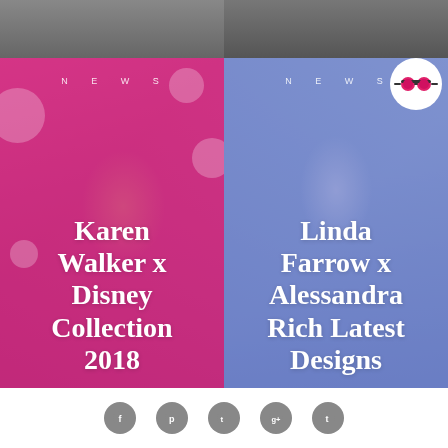[Figure (photo): Top strip: two partial fashion photos side by side, partially cropped at top]
[Figure (photo): Left card: pink/magenta overlaid fashion photo of model wearing Mickey Mouse ears hat with polka dots and sunglasses. NEWS label at top. Title: Karen Walker x Disney Collection 2018]
Karen Walker x Disney Collection 2018
[Figure (photo): Right card: blue/lavender overlaid fashion photo of model wearing white beanie and sunglasses. NEWS label at top. Title: Linda Farrow x Alessandra Rich Latest Designs]
Linda Farrow x Alessandra Rich Latest Designs
[Figure (logo): Round logo in top right corner: white circle with pink heart-shaped sunglasses icon]
Social media icons: Facebook, Pinterest, Twitter, Google+, Tumblr